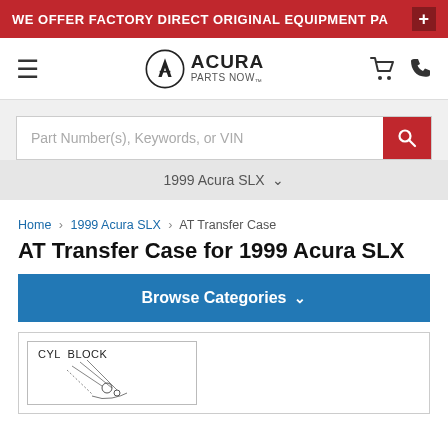WE OFFER FACTORY DIRECT ORIGINAL EQUIPMENT PA
[Figure (logo): Acura Parts Now logo with hamburger menu, cart and phone icons]
Part Number(s), Keywords, or VIN
1999 Acura SLX
Home > 1999 Acura SLX > AT Transfer Case
AT Transfer Case for 1999 Acura SLX
Browse Categories
[Figure (engineering-diagram): CYL BLOCK parts diagram showing component connections and callouts]